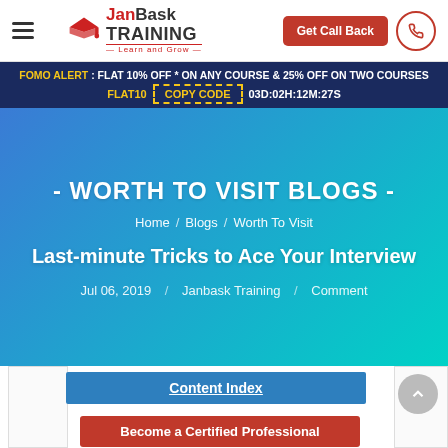JanBask Training - Learn and Grow
FOMO ALERT : FLAT 10% OFF * ON ANY COURSE & 25% OFF ON TWO COURSES
FLAT10  COPY CODE  03D:02H:12M:27S
- WORTH TO VISIT BLOGS -
Home / Blogs / Worth To Visit
Last-minute Tricks to Ace Your Interview
Jul 06, 2019 / Janbask Training / Comment
Content Index
Become a Certified Professional
Introduction on last minute interview tips